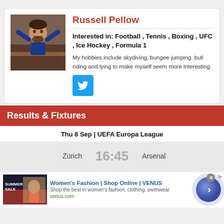[Figure (photo): Profile photo of Russell Pellow, a man with arms raised in a restaurant setting]
Russell Pellow
Interested in: Football , Tennis , Boxing , UFC , Ice Hockey , Formula 1
My hobbies include skydiving, bungee jumping, bull riding and lying to make myself seem more interesting.
[Figure (logo): Twitter bird logo button in blue]
Results & Fixtures
Thu 8 Sep | UEFA Europa League
Zürich   16:45   Arsenal
[Figure (screenshot): Ad banner for Women's Fashion Shop Online VENUS with sale image]